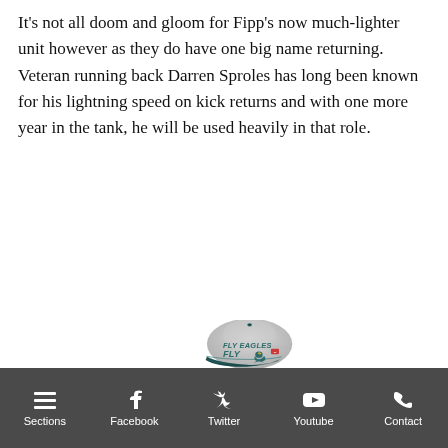It’s not all doom and gloom for Fipp’s now much-lighter unit however as they do have one big name returning. Veteran running back Darren Sproles has long been known for his lightning speed on kick returns and with one more year in the tank, he will be used heavily in that role.
[Figure (photo): Philadelphia Eagles 'FLY EAGLES FLY' New Era snapback cap in heathered grey with teal brim and embroidered team logo]
Sections | Facebook | Twitter | Youtube | Contact